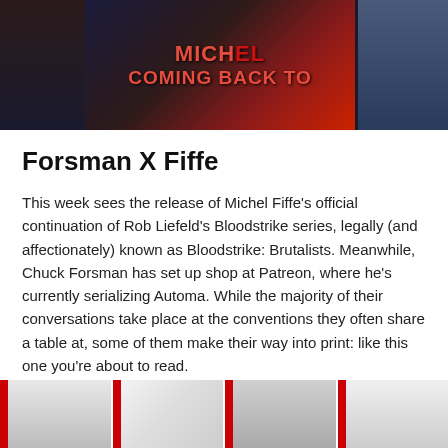[Figure (photo): Photo of people wearing graphic t-shirts, one reading 'COMING BACK TO' in red text on dark background]
Forsman X Fiffe
This week sees the release of Michel Fiffe's official continuation of Rob Liefeld's Bloodstrike series, legally (and affectionately) known as Bloodstrike: Brutalists. Meanwhile, Chuck Forsman has set up shop at Patreon, where he's currently serializing Automa. While the majority of their conversations take place at the conventions they often share a table at, some of them make their way into print: like this one you're about to read.
Chuck Forsman | June 12, 2018
[Figure (photo): Comic book panels in a horizontal strip with red borders, showing black and white comic art]